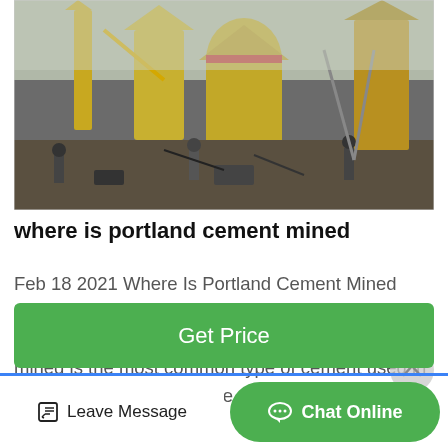[Figure (photo): Industrial cement milling equipment at an outdoor construction/mining site. Workers can be seen near large yellow silos and machinery. The scene appears to be at a cement processing facility.]
where is portland cement mined
Feb 18 2021 Where Is Portland Cement Mined Portland cement whose name comes from the location in England where its ingredients were first mined is the most common type of cement used in construction worldwideThe cement...
Get Price
Leave Message
Chat Online